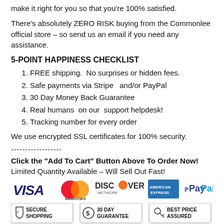make it right for you so that you're 100% satisfied.
There's absolutely ZERO RISK buying from the Commonlee official store – so send us an email if you need any assistance.
5-POINT HAPPINESS CHECKLIST
FREE shipping.  No surprises or hidden fees.
Safe payments via Stripe   and/or PayPal
30 Day Money Back Guarantee
Real humans  on our  support helpdesk!
Tracking number for every order
We use encrypted SSL certificates for 100% security.
------------------
Click the "Add To Cart" Button Above To Order Now!
Limited Quantity Available – Will Sell Out Fast!
[Figure (infographic): Payment method logos: VISA, MasterCard, DISCOVER NETWORK, AMERICAN EXPRESS, PayPal]
[Figure (infographic): Three trust badges: SECURE SHOPPING, 30 DAY GUARANTEE, BEST PRICE ASSURED]